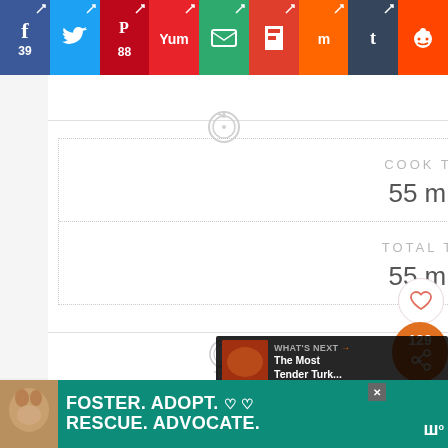[Figure (screenshot): Social sharing bar with buttons: Facebook (39), Twitter, Pinterest (88), Yummly, Email, Flipboard, Mix, Tumblr, Reddit]
[Figure (screenshot): Green Print Recipe button with printer icon]
COOK TIME
55 mins
TOTAL TIME
55 mins
[Figure (infographic): Heart/save button (129 shares) and What's Next panel showing The Most Tender Turk...]
[Figure (screenshot): Heinz advertisement banner]
[Figure (screenshot): Foster. Adopt. Rescue. Advocate. pet adoption advertisement banner with dog photo and WeatherBug widget]